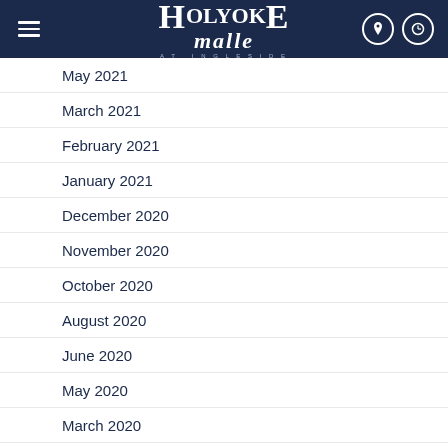Holyoke Mall at Ingleside
May 2021
March 2021
February 2021
January 2021
December 2020
November 2020
October 2020
August 2020
June 2020
May 2020
March 2020
February 2020
December 2019
November 2019
October 2019
September 2019
August 2019
July 2019
English